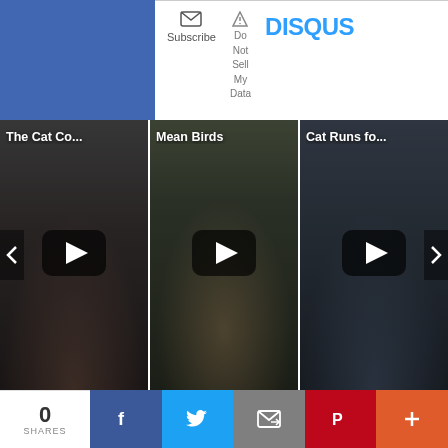[Figure (screenshot): Disqus comment section top bar with Subscribe and Do Not Sell My Data buttons and DISQUS logo, partially cropped]
[Figure (screenshot): Three video thumbnails in a row: 'The Cat Co...', 'Mean Birds', 'Cat Runs fo...' each with a YouTube-style play button overlay]
This website makes use of cookies to enhance browsing experience
0 SHARES
[Figure (screenshot): Social share bar with Facebook, Twitter, Email, Pinterest, and More buttons]